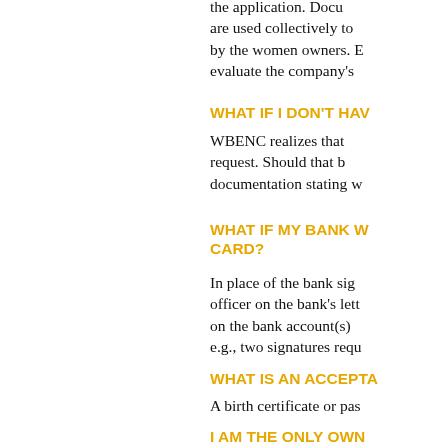the application. Docu are used collectively to by the women owners. evaluate the company's
WHAT IF I DON'T HAV
WBENC realizes that request. Should that b documentation stating w
WHAT IF MY BANK W CARD?
In place of the bank sig officer on the bank's lett on the bank account(s) e.g., two signatures requ
WHAT IS AN ACCEPTA
A birth certificate or pas
I AM THE ONLY OWN MEETINGS?